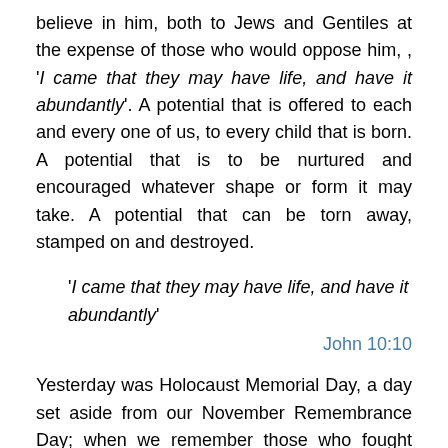believe in him, both to Jews and Gentiles at the expense of those who would oppose him, , 'I came that they may have life, and have it abundantly'. A potential that is offered to each and every one of us, to every child that is born. A potential that is to be nurtured and encouraged whatever shape or form it may take. A potential that can be torn away, stamped on and destroyed.
‘I came that they may have life, and have it abundantly’
John 10:10
Yesterday was Holocaust Memorial Day, a day set aside from our November Remembrance Day; when we remember those who fought and gave their lives not only in the 1st World War but also in the 2nd World War, where they stood up aside the evil tyranny of the Nazi regime. Holocaust Memorial Day is a special day to remember the